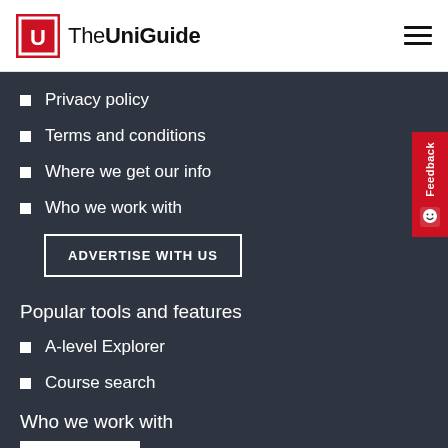The UniGuide
Privacy policy
Terms and conditions
Where we get our info
Who we work with
ADVERTISE WITH US
Popular tools and features
A-level Explorer
Course search
Who we work with
[Figure (logo): UCAS logo on white background]